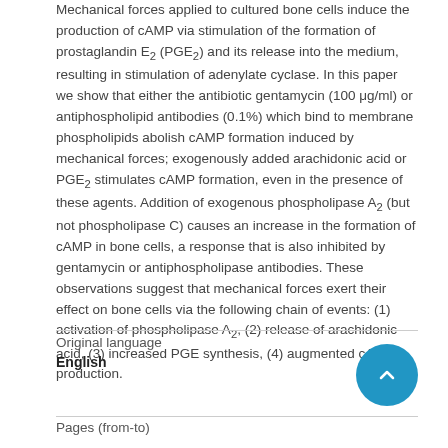Mechanical forces applied to cultured bone cells induce the production of cAMP via stimulation of the formation of prostaglandin E2 (PGE2) and its release into the medium, resulting in stimulation of adenylate cyclase. In this paper we show that either the antibiotic gentamycin (100 μg/ml) or antiphospholipid antibodies (0.1%) which bind to membrane phospholipids abolish cAMP formation induced by mechanical forces; exogenously added arachidonic acid or PGE2 stimulates cAMP formation, even in the presence of these agents. Addition of exogenous phospholipase A2 (but not phospholipase C) causes an increase in the formation of cAMP in bone cells, a response that is also inhibited by gentamycin or antiphospholipase antibodies. These observations suggest that mechanical forces exert their effect on bone cells via the following chain of events: (1) activation of phospholipase A2, (2) release of arachidonic acid, (3) increased PGE synthesis, (4) augmented cAMP production.
| Original language |  |
| --- | --- |
| English |  |
| Pages (from-to) |  |